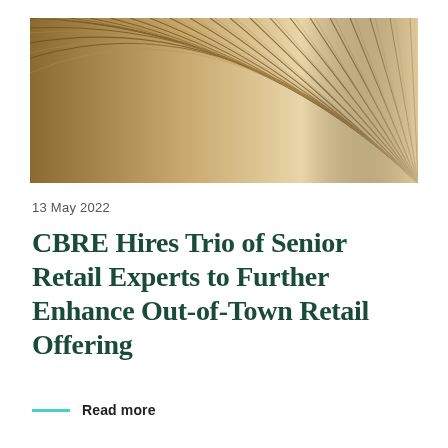[Figure (photo): Abstract close-up photo of radiating curved lines in golden brown and beige tones, resembling the pages of a book or fan-like striped pattern]
13  May 2022
CBRE Hires Trio of Senior Retail Experts to Further Enhance Out-of-Town Retail Offering
Read more